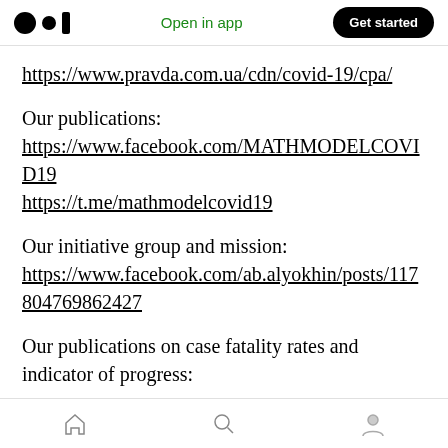Open in app | Get started
https://www.pravda.com.ua/cdn/covid-19/cpa/
Our publications:
https://www.facebook.com/MATHMODELCOVID19
https://t.me/mathmodelcovid19
Our initiative group and mission:
https://www.facebook.com/ab.alyokhin/posts/117804769862427
Our publications on case fatality rates and indicator of progress: